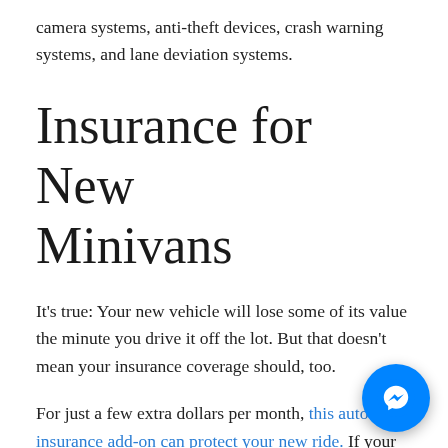camera systems, anti-theft devices, crash warning systems, and lane deviation systems.
Insurance for New Minivans
It's true: Your new vehicle will lose some of its value the minute you drive it off the lot. But that doesn't mean your insurance coverage should, too.
For just a few extra dollars per month, this auto insurance add-on can protect your new ride. If your new car¹ gets totaled, ERIE will pay you the cost to replace it with the newest comparable model year